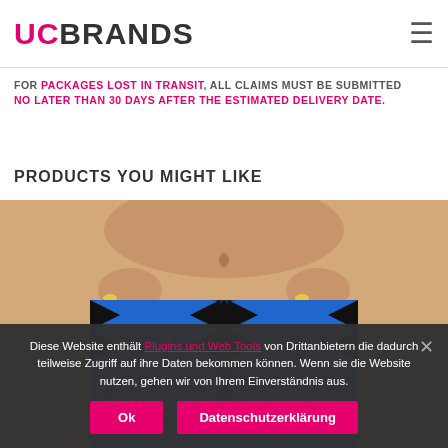UCBRANDS
FOR PACKAGES LOST IN TRANSIT, ALL CLAIMS MUST BE SUBMITTED NO LATER THAN 30 DAYS AFTER THE ESTIMATED DELIVERY DATE.
PRODUCTS YOU MIGHT LIKE
[Figure (photo): Person wearing blue and black patterned leggings with graphic design, cropped at waist to knees]
Diese Website enthält Plugins und Web Tools von Drittanbietern die dadurch teilweise Zugriff auf ihre Daten bekommen können. Wenn sie die Website nutzen, gehen wir von Ihrem Einverständnis aus.
Ok
Datenschutzerklärung